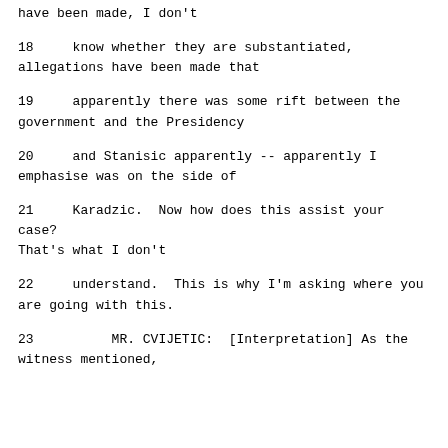have been made, I don't
18     know whether they are substantiated, allegations have been made that
19     apparently there was some rift between the government and the Presidency
20     and Stanisic apparently -- apparently I emphasise was on the side of
21     Karadzic.  Now how does this assist your case? That's what I don't
22     understand.  This is why I'm asking where you are going with this.
23          MR. CVIJETIC:  [Interpretation] As the witness mentioned,